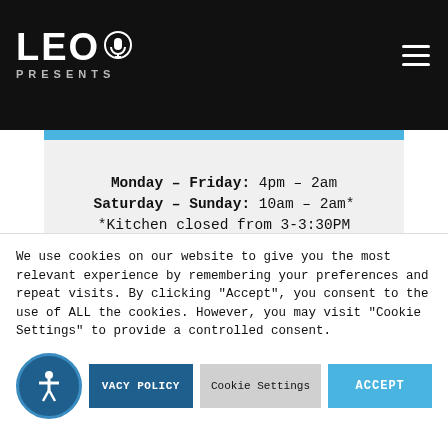LEO PRESENTS
Monday – Friday: 4pm – 2am
Saturday – Sunday: 10am – 2am*
*Kitchen closed from 3-3:30PM
(Sat – Sun only)
Happy Hour: Daily 4pm – 6pm
$4 wells, wines and drafts, $7 appetizers, $7 specialty
We use cookies on our website to give you the most relevant experience by remembering your preferences and repeat visits. By clicking "Accept", you consent to the use of ALL the cookies. However, you may visit "Cookie Settings" to provide a controlled consent.
PRIVACY POLICY | Cookie Settings | ACCEPT